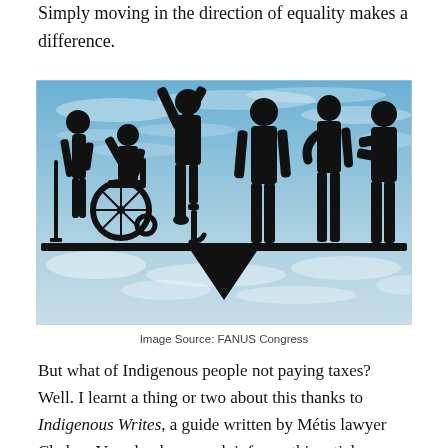Simply moving in the direction of equality makes a difference.
[Figure (photo): Silhouette of diverse group of people including a person with crutches, a wheelchair user, a person with a prosthetic leg with arms raised, and three standing individuals, all balanced on a scale/seesaw against a blue sky background]
Image Source: FANUS Congress
But what of Indigenous people not paying taxes? Well. I learnt a thing or two about this thanks to Indigenous Writes, a guide written by Métis lawyer Chelsea Vowel, whose work informs this article. According to section